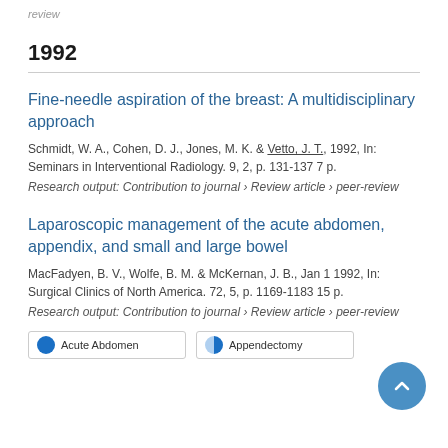review
1992
Fine-needle aspiration of the breast: A multidisciplinary approach
Schmidt, W. A., Cohen, D. J., Jones, M. K. & Vetto, J. T., 1992, In: Seminars in Interventional Radiology. 9, 2, p. 131-137 7 p.
Research output: Contribution to journal › Review article › peer-review
Laparoscopic management of the acute abdomen, appendix, and small and large bowel
MacFadyen, B. V., Wolfe, B. M. & McKernan, J. B., Jan 1 1992, In: Surgical Clinics of North America. 72, 5, p. 1169-1183 15 p.
Research output: Contribution to journal › Review article › peer-review
Acute Abdomen
Appendectomy